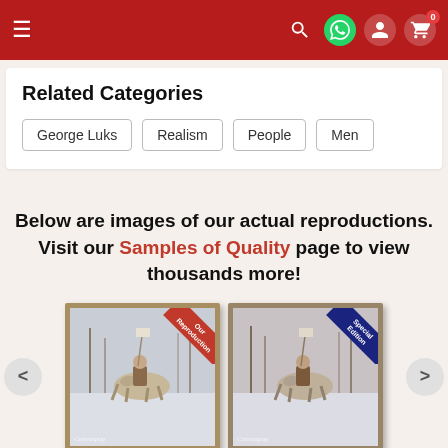Navigation bar with hamburger menu, search, WhatsApp, account, and cart (0) icons
Related Categories
George Luks
Realism
People
Men
Below are images of our actual reproductions. Visit our Samples of Quality page to view thousands more!
[Figure (photo): Two framed painting reproductions of a soldier on horseback in a winter scene, one with red ribbon and one with blue ribbon in top-right corners]
< >